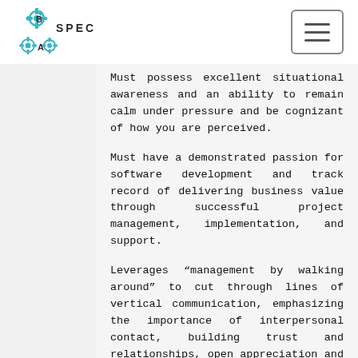BSPEC logo and navigation
Must possess excellent situational awareness and an ability to remain calm under pressure and be cognizant of how you are perceived.
Must have a demonstrated passion for software development and track record of delivering business value through successful project management, implementation, and support.
Leverages “management by walking around” to cut through lines of vertical communication, emphasizing the importance of interpersonal contact, building trust and relationships, open appreciation and recognition, removing